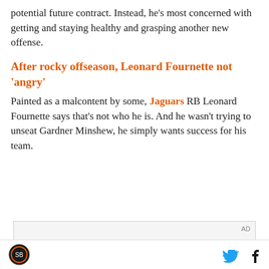potential future contract. Instead, he's most concerned with getting and staying healthy and grasping another new offense.
After rocky offseason, Leonard Fournette not 'angry'
Painted as a malcontent by some, Jaguars RB Leonard Fournette says that's not who he is. And he wasn't trying to unseat Gardner Minshew, he simply wants success for his team.
[Figure (other): Advertisement placeholder box with AD label and dark image strip at bottom]
SB Nation logo, Twitter icon, Facebook icon